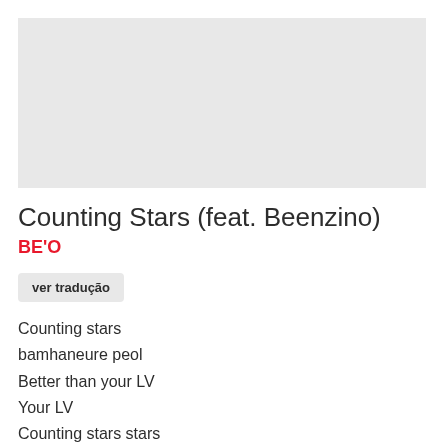[Figure (other): Gray placeholder image area for album art or music video thumbnail]
Counting Stars (feat. Beenzino)
BE'O
ver tradução
Counting stars
bamhaneure peol
Better than your LV
Your LV
Counting stars stars
bamhaneure peol
Better than your LV